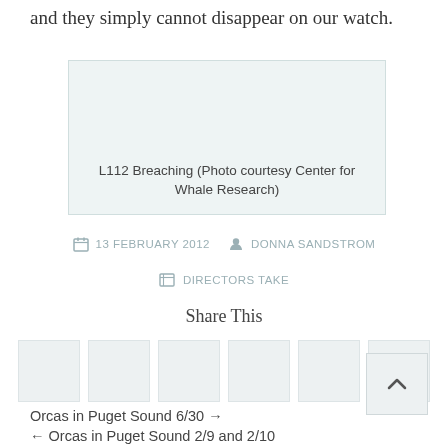and they simply cannot disappear on our watch.
[Figure (photo): Photo placeholder box for L112 Breaching, light teal background]
L112 Breaching (Photo courtesy Center for Whale Research)
13 FEBRUARY 2012   DONNA SANDSTROM
DIRECTORS TAKE
Share This
Orcas in Puget Sound 6/30 →
← Orcas in Puget Sound 2/9 and 2/10